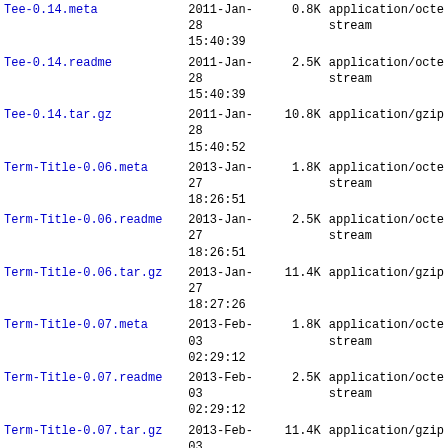| Name | Date | Size | Type |
| --- | --- | --- | --- |
| Tee-0.14.meta | 2011-Jan-28 15:40:39 | 0.8K | application/octet-stream |
| Tee-0.14.readme | 2011-Jan-28 15:40:39 | 2.5K | application/octet-stream |
| Tee-0.14.tar.gz | 2011-Jan-28 15:40:52 | 10.8K | application/gzip |
| Term-Title-0.06.meta | 2013-Jan-27 18:26:51 | 1.8K | application/octet-stream |
| Term-Title-0.06.readme | 2013-Jan-27 18:26:51 | 2.5K | application/octet-stream |
| Term-Title-0.06.tar.gz | 2013-Jan-27 18:27:26 | 11.4K | application/gzip |
| Term-Title-0.07.meta | 2013-Feb-03 02:29:12 | 1.8K | application/octet-stream |
| Term-Title-0.07.readme | 2013-Feb-03 02:29:12 | 2.5K | application/octet-stream |
| Term-Title-0.07.tar.gz | 2013-Feb-03 02:30:00 | 11.4K | application/gzip |
| Term-Title-0.08.meta | 2014-Mar-14 15:40:07 | 2.4K | application/octet-stream |
| Term-Title-0.08.readme | 2014-Mar-14 | 2.6K | application/octet-stream |